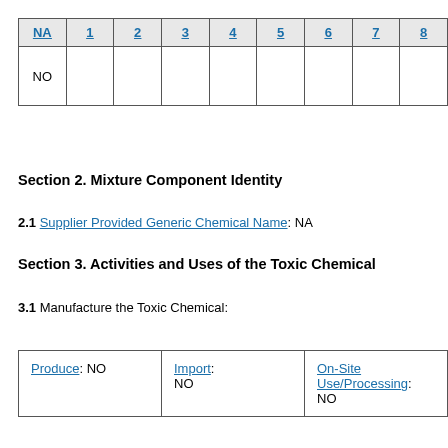| NA | 1 | 2 | 3 | 4 | 5 | 6 | 7 | 8 |
| --- | --- | --- | --- | --- | --- | --- | --- | --- |
| NO |  |  |  |  |  |  |  |  |
Section 2. Mixture Component Identity
2.1 Supplier Provided Generic Chemical Name: NA
Section 3. Activities and Uses of the Toxic Chemical
3.1 Manufacture the Toxic Chemical:
| Produce | Import | On-Site Use/Processing |
| --- | --- | --- |
| NO | NO | NO |